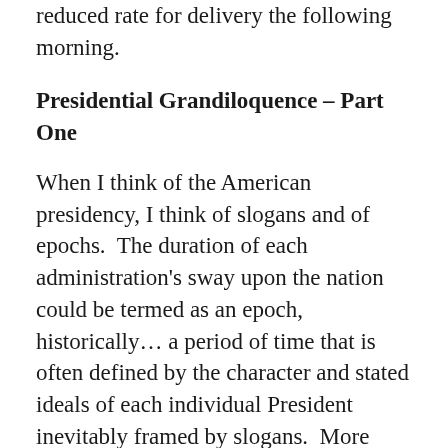reduced rate for delivery the following morning.
Presidential Grandiloquence – Part One
When I think of the American presidency, I think of slogans and of epochs.  The duration of each administration's sway upon the nation could be termed as an epoch, historically… a period of time that is often defined by the character and stated ideals of each individual President inevitably framed by slogans.  More often, however, the slogans are lost and their idealistic definitions are tempered in remembrance by the realities surrounding each administration, by facts rather than by the carefully chosen words they use to define themselves.